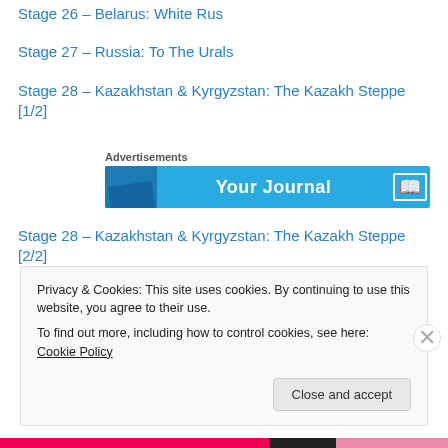Stage 26 – Belarus: White Rus
Stage 27 – Russia: To The Urals
Stage 28 – Kazakhstan & Kyrgyzstan: The Kazakh Steppe [1/2]
[Figure (other): Advertisements banner showing 'Your Journal' with a book icon on a blue background]
Stage 28 – Kazakhstan & Kyrgyzstan: The Kazakh Steppe [2/2]
Privacy & Cookies: This site uses cookies. By continuing to use this website, you agree to their use. To find out more, including how to control cookies, see here: Cookie Policy